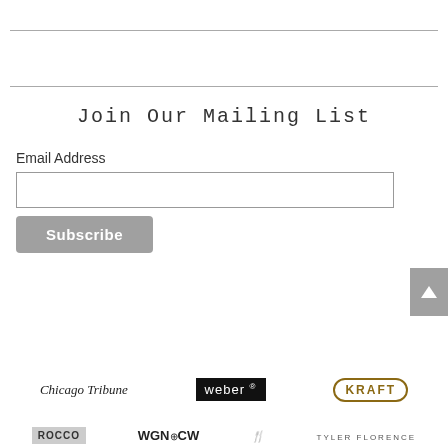Join Our Mailing List
Email Address
Subscribe
[Figure (logo): Chicago Tribune logo (serif italic text)]
[Figure (logo): Weber grill logo (white text on black box)]
[Figure (logo): KRAFT logo (text in oval border)]
[Figure (logo): ROCCO logo (text on grey background)]
[Figure (logo): WGN CW logo]
[Figure (logo): Tyler Florence logo with cooking utensils]